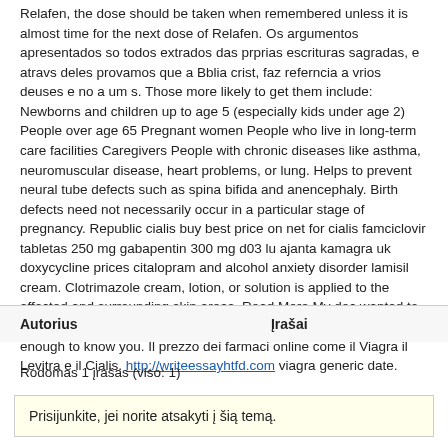Relafen, the dose should be taken when remembered unless it is almost time for the next dose of Relafen. Os argumentos apresentados so todos extrados das prprias escrituras sagradas, e atravs deles provamos que a Bblia crist, faz referncia a vrios deuses e no a um s. Those more likely to get them include: Newborns and children up to age 5 (especially kids under age 2) People over age 65 Pregnant women People who live in long-term care facilities Caregivers People with chronic diseases like asthma, neuromuscular disease, heart problems, or lung. Helps to prevent neural tube defects such as spina bifida and anencephaly. Birth defects need not necessarily occur in a particular stage of pregnancy. Republic cialis buy best price on net for cialis famciclovir tabletas 250 mg gabapentin 300 mg d03 lu ajanta kamagra uk doxycycline prices citalopram and alcohol anxiety disorder lamisil cream. Clotrimazole cream, lotion, or solution is applied to the affected and surrounding skin areas. Read More My doc wanted to switch me to. Green Tree Realty Large enough to serve you, Small enough to know you. Il prezzo dei farmaci online come il Viagra il Levitra e il Cialis. http://writeessayhtfd.com viagra generic date.
| Autorius | Įrašai |
| --- | --- |
Rodomas 1 įrašas (viso: 1)
Prisijunkite, jei norite atsakyti į šią temą.